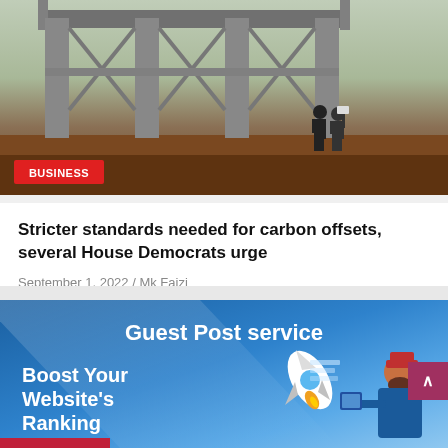[Figure (photo): Industrial structure with concrete pillars, X-braces, horizontal beam. Two people silhouettes standing in background. Brown/red dirt ground. BUSINESS category badge in bottom-left corner.]
Stricter standards needed for carbon offsets, several House Democrats urge
September 1, 2022 / Mk Faizi
[Figure (illustration): Blue gradient advertisement banner for Guest Post service. Text reads 'Guest Post service' at top center, 'Boost Your Website's Ranking' on left. Rocket and bearded man with tablet illustrations on right. Scroll-to-top arrow button on far right. Red bar at bottom left.]